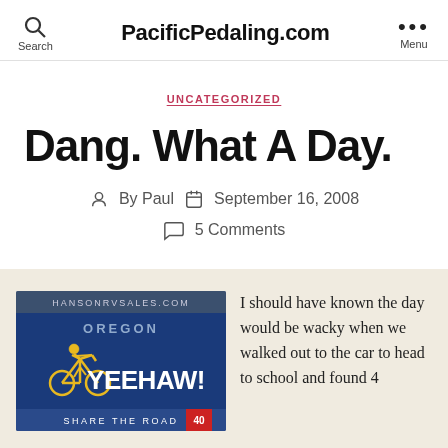PacificPedaling.com
UNCATEGORIZED
Dang. What A Day.
By Paul  September 16, 2008
5 Comments
[Figure (photo): A blue Oregon license plate style sign with a yellow cyclist graphic and the text YEEHAW! and SHARE THE ROAD]
I should have known the day would be wacky when we walked out to the car to head to school and found 4